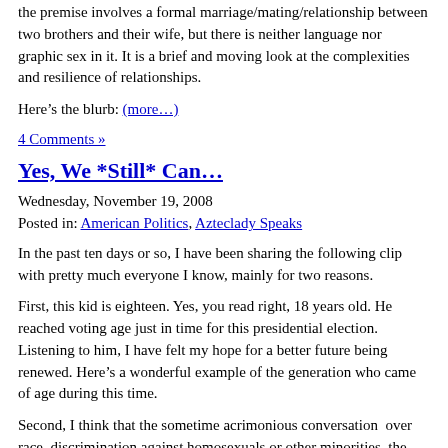the premise involves a formal marriage/mating/relationship between two brothers and their wife, but there is neither language nor graphic sex in it. It is a brief and moving look at the complexities and resilience of relationships.
Here’s the blurb: (more…)
4 Comments »
Yes, We *Still* Can…
Wednesday, November 19, 2008
Posted in: American Politics, Azteclady Speaks
In the past ten days or so, I have been sharing the following clip with pretty much everyone I know, mainly for two reasons.
First, this kid is eighteen. Yes, you read right, 18 years old. He reached voting age just in time for this presidential election. Listening to him, I have felt my hope for a better future being renewed. Here’s a wonderful example of the generation who came of age during this time.
Second, I think that the sometime acrimonious conversation over race, discrimination against homosexuals or other minorities, the financial crisis and other matters, would benefit, at least...